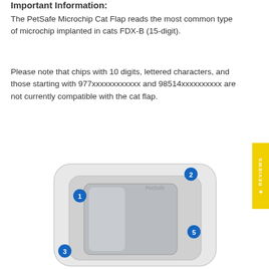Important Information:
The PetSafe Microchip Cat Flap reads the most common type of microchip implanted in cats FDX-B (15-digit).
Please note that chips with 10 digits, lettered characters, and those starting with 977xxxxxxxxxxxx and 98514xxxxxxxxxx are not currently compatible with the cat flap.
[Figure (photo): Photo of the PetSafe Microchip Cat Flap device with numbered callouts: 1 (top-left area of frame), 2 (top-right corner), 3 (bottom-left corner), 5 (right side of flap opening). The device is white with a rounded rectangular frame and a grey flap door.]